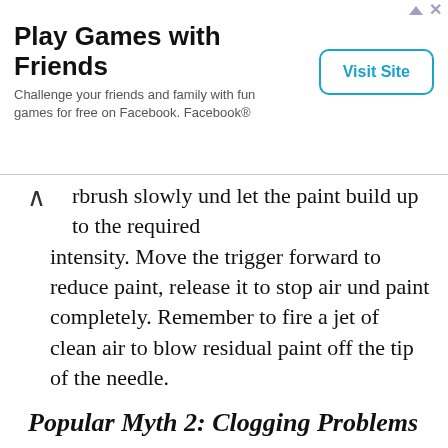[Figure (other): Advertisement banner: Play Games with Friends. Challenge your friends and family with fun games for free on Facebook. Facebook®. Visit Site button.]
rbrush slowly und let the paint build up to the required intensity. Move the trigger forward to reduce paint, release it to stop air und paint completely. Remember to fire a jet of clean air to blow residual paint off the tip of the needle.
Popular Myth 2: Clogging Problems
Small scale vehicles und models may be painted with a medium nozzle und needle set, but a fine nozzle und needle may be even better. The finer needle set will require more frequent cleaning. If acrylic paints are used, cleaning is easy. Unscrew the needle cowling und pull the dried paint off the needle with your fingers. Use the awl to clean the central opening in the needle cowling, und remove any dried paint on the inside rim. Add acrylic paint thinner to the paint in the